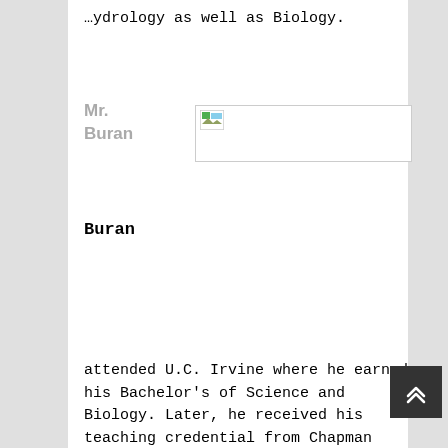…ydrology as well as Biology.
Mr. Buran
[Figure (photo): Placeholder image thumbnail for Mr. Buran]
Buran
attended U.C. Irvine where he earned his Bachelor's of Science and Biology. Later, he received his teaching credential from Chapman University…